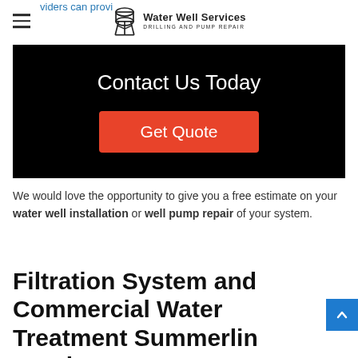Water Well Services — Drilling and Pump Repair
[Figure (screenshot): Black CTA banner with 'Contact Us Today' heading and red 'Get Quote' button]
We would love the opportunity to give you a free estimate on your water well installation or well pump repair of your system.
Filtration System and Commercial Water Treatment Summerlin South NV